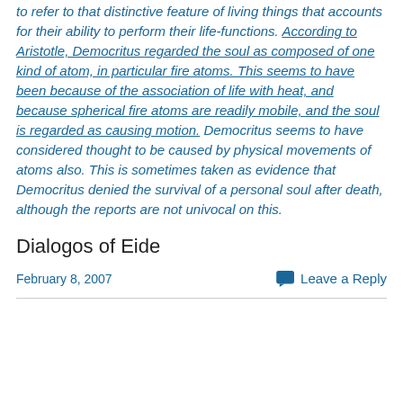to refer to that distinctive feature of living things that accounts for their ability to perform their life-functions. According to Aristotle, Democritus regarded the soul as composed of one kind of atom, in particular fire atoms. This seems to have been because of the association of life with heat, and because spherical fire atoms are readily mobile, and the soul is regarded as causing motion. Democritus seems to have considered thought to be caused by physical movements of atoms also. This is sometimes taken as evidence that Democritus denied the survival of a personal soul after death, although the reports are not univocal on this.
Dialogos of Eide
February 8, 2007
Leave a Reply